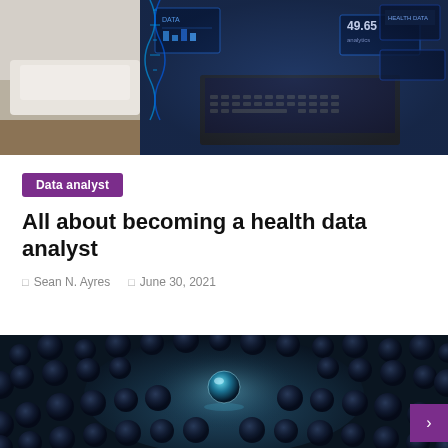[Figure (photo): Technology collage showing a laptop with holographic data displays, digital health analytics imagery, glowing screens with charts and numbers including '49.65']
Data analyst
All about becoming a health data analyst
Sean N. Ayres   June 30, 2021
[Figure (photo): Close-up macro photo of dark blue metallic spheres/marbles with a single luminous teal/cyan marble hovering in the center, dramatic lighting]